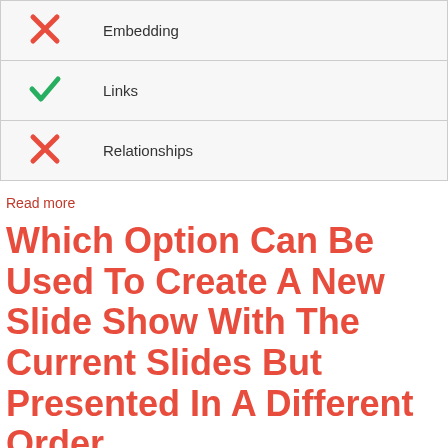|  |  |
| --- | --- |
| ✗ | Embedding |
| ✓ | Links |
| ✗ | Relationships |
Read more
Which Option Can Be Used To Create A New Slide Show With The Current Slides But Presented In A Different Order
Which Option Can Be Used To Create A New Slide Show With The Current Slides But Presented In A Different Order
|  |  |
| --- | --- |
| ✗ | Slide Show Setup |
| ✗ | Slide Show View |